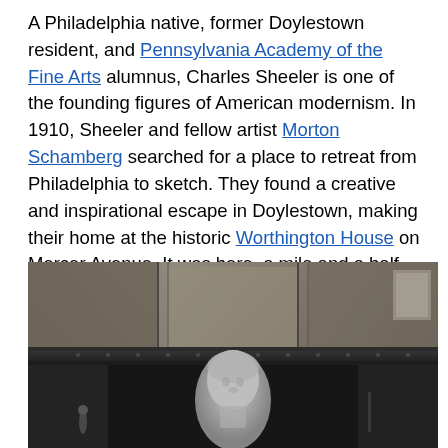A Philadelphia native, former Doylestown resident, and Pennsylvania Academy of the Fine Arts alumnus, Charles Sheeler is one of the founding figures of American modernism. In 1910, Sheeler and fellow artist Morton Schamberg searched for a place to retreat from Philadelphia to sketch. They found a creative and inspirational escape in Doylestown, making their home at the historic Worthington House on Mercer Avenue. It was here, a mile and a half from where the Michener Art Museum now stands, that Sheeler began to explore photography in earnest.
[Figure (photo): Black and white photograph showing a white bust or sculpture of a figure in the foreground, with a dark interior room visible in the background including what appears to be a mantelpiece or fireplace surround.]